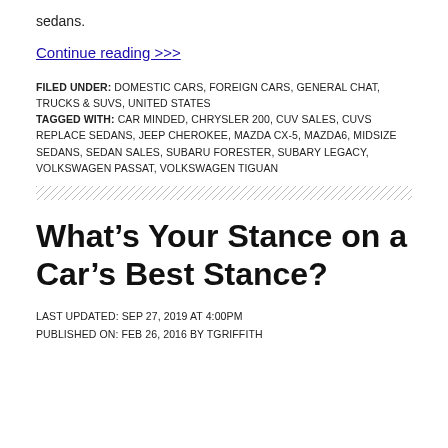sedans.
Continue reading >>>
FILED UNDER: DOMESTIC CARS, FOREIGN CARS, GENERAL CHAT, TRUCKS & SUVS, UNITED STATES
TAGGED WITH: CAR MINDED, CHRYSLER 200, CUV SALES, CUVS REPLACE SEDANS, JEEP CHEROKEE, MAZDA CX-5, MAZDA6, MIDSIZE SEDANS, SEDAN SALES, SUBARU FORESTER, SUBARY LEGACY, VOLKSWAGEN PASSAT, VOLKSWAGEN TIGUAN
What’s Your Stance on a Car’s Best Stance?
LAST UPDATED: SEP 27, 2019 AT 4:00PM
PUBLISHED ON: FEB 26, 2016 BY TGRIFFITH